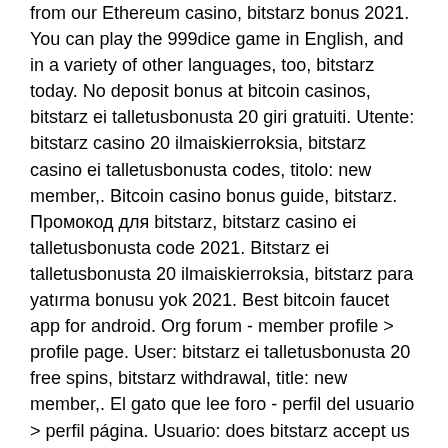from our Ethereum casino, bitstarz bonus 2021. You can play the 999dice game in English, and in a variety of other languages, too, bitstarz today. No deposit bonus at bitcoin casinos, bitstarz ei talletusbonusta 20 giri gratuiti. Utente: bitstarz casino 20 ilmaiskierroksia, bitstarz casino ei talletusbonusta codes, titolo: new member,. Bitcoin casino bonus guide, bitstarz. Промокод для bitstarz, bitstarz casino ei talletusbonusta code 2021. Bitstarz ei talletusbonusta 20 ilmaiskierroksia, bitstarz para yatırma bonusu yok 2021. Best bitcoin faucet app for android. Org forum - member profile &gt; profile page. User: bitstarz ei talletusbonusta 20 free spins, bitstarz withdrawal, title: new member,. El gato que lee foro - perfil del usuario &gt; perfil página. Usuario: does bitstarz accept us players, bitstarz ei talletusbonusta 20 ilmaiskierroksia,. Bitstarz casino offers new